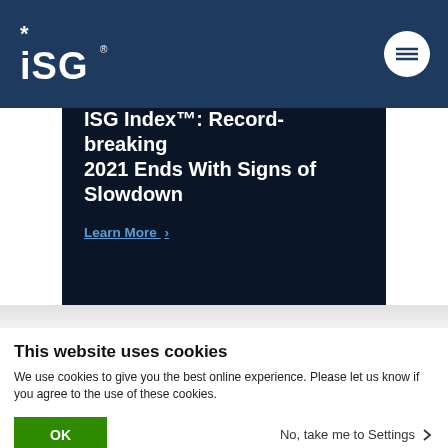ISG logo and navigation menu
ISG Index™: Record-breaking 2021 Ends With Signs of Slowdown
Learn More ›
This website uses cookies
We use cookies to give you the best online experience. Please let us know if you agree to the use of these cookies.
OK
No, take me to Settings